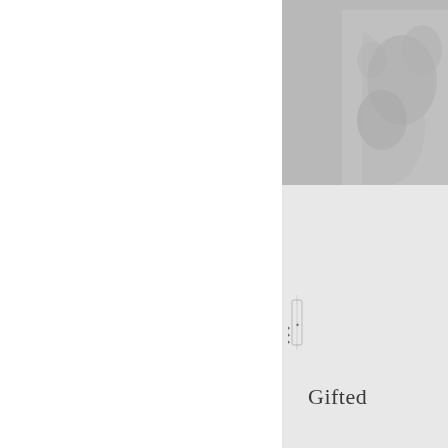[Figure (photo): Black and white photograph partially visible in upper right corner of page]
Gifted
What tribute shall we give t
Who fight the glorious figh
Who stand or fall in freedor
Defenders of the right,
Who ward the blow that tyr
And vengeance they would
The meed they claim—the v